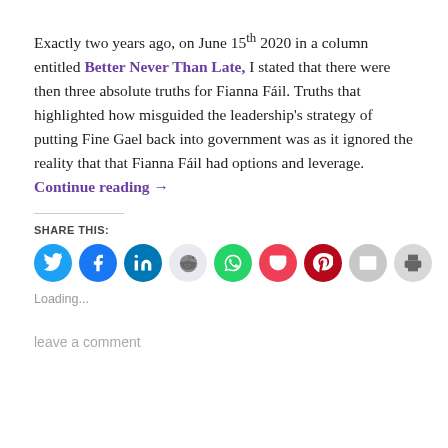Exactly two years ago, on June 15th 2020 in a column entitled Better Never Than Late, I stated that there were then three absolute truths for Fianna Fáil. Truths that highlighted how misguided the leadership's strategy of putting Fine Gael back into government was as it ignored the reality that that Fianna Fáil had options and leverage. Continue reading →
[Figure (other): Social share buttons row: Twitter (blue), Facebook (dark blue), LinkedIn (blue), Reddit (light gray), WhatsApp (green), Pocket (red), Pinterest (dark red), Email (gray), Print (gray)]
Loading...
leave a comment